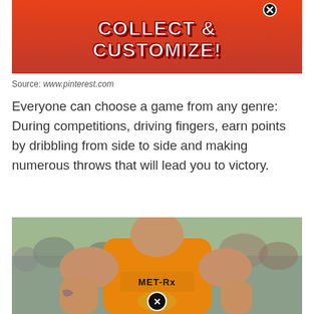[Figure (screenshot): Game advertisement banner with orange/red background showing text 'COLLECT & CUSTOMIZE!' in large bold white letters with a close (X) button in top right]
Source: www.pinterest.com
Everyone can choose a game from any genre: During competitions, driving fingers, earn points by dribbling from side to side and making numerous throws that will lead you to victory.
[Figure (photo): Muscular man wearing an orange MET-Rx tank top at an outdoor event with a crowd in the background. A close (X) button appears at the bottom center of the image.]